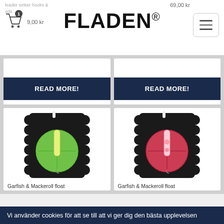FLADEN®
[Figure (screenshot): Two READ MORE! buttons for product cards in top row]
[Figure (photo): Garfish & Mackeroll float with green glow — fishing float on black card backing]
[Figure (photo): Garfish & Mackeroll float with red/pink glow — fishing float on black card backing]
Garfish & Mackeroll float
Garfish & Mackeroll float
Vi använder cookies för att se till att vi ger dig den bästa upplevelsen